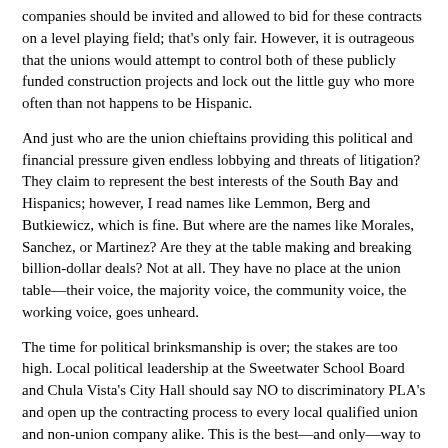companies should be invited and allowed to bid for these contracts on a level playing field; that's only fair. However, it is outrageous that the unions would attempt to control both of these publicly funded construction projects and lock out the little guy who more often than not happens to be Hispanic.
And just who are the union chieftains providing this political and financial pressure given endless lobbying and threats of litigation? They claim to represent the best interests of the South Bay and Hispanics; however, I read names like Lemmon, Berg and Butkiewicz, which is fine. But where are the names like Morales, Sanchez, or Martinez? Are they at the table making and breaking billion-dollar deals? Not at all. They have no place at the union table—their voice, the majority voice, the community voice, the working voice, goes unheard.
The time for political brinksmanship is over; the stakes are too high. Local political leadership at the Sweetwater School Board and Chula Vista's City Hall should say NO to discriminatory PLA's and open up the contracting process to every local qualified union and non-union company alike. This is the best—and only—way to ensure that the entire community benefits, including Hispanics.
Joshua Ramirez
Member of Associated Builders and Contractors